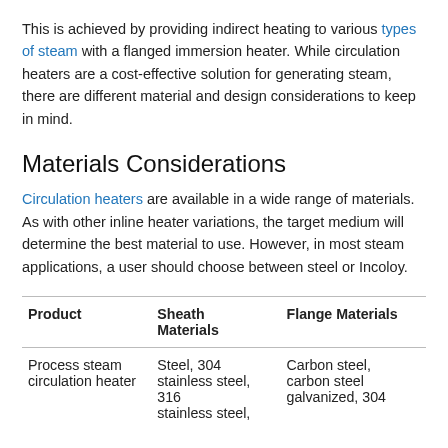This is achieved by providing indirect heating to various types of steam with a flanged immersion heater. While circulation heaters are a cost-effective solution for generating steam, there are different material and design considerations to keep in mind.
Materials Considerations
Circulation heaters are available in a wide range of materials. As with other inline heater variations, the target medium will determine the best material to use. However, in most steam applications, a user should choose between steel or Incoloy.
| Product | Sheath Materials | Flange Materials |
| --- | --- | --- |
| Process steam circulation heater | Steel, 304 stainless steel, 316 stainless steel, | Carbon steel, carbon steel galvanized, 304 |